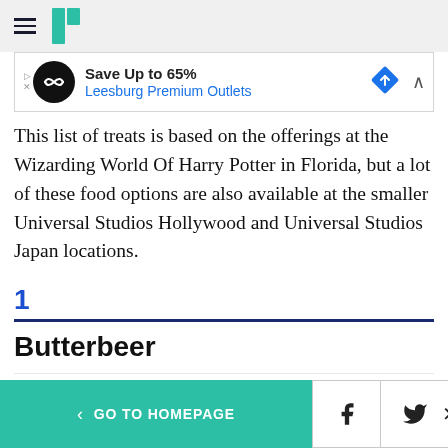HuffPost navigation header with hamburger menu and logo
[Figure (other): Ad banner: Save Up to 65% Leesburg Premium Outlets]
This list of treats is based on the offerings at the Wizarding World Of Harry Potter in Florida, but a lot of these food options are also available at the smaller Universal Studios Hollywood and Universal Studios Japan locations.
1
Butterbeer
< GO TO HOMEPAGE | Facebook | Twitter | X